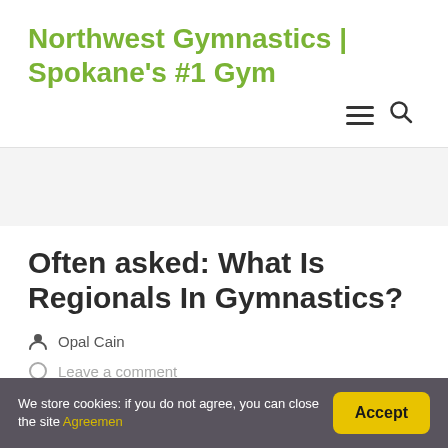Northwest Gymnastics | Spokane's #1 Gym
Often asked: What Is Regionals In Gymnastics?
Opal Cain
Leave a comment
We store cookies: if you do not agree, you can close the site Agreemen